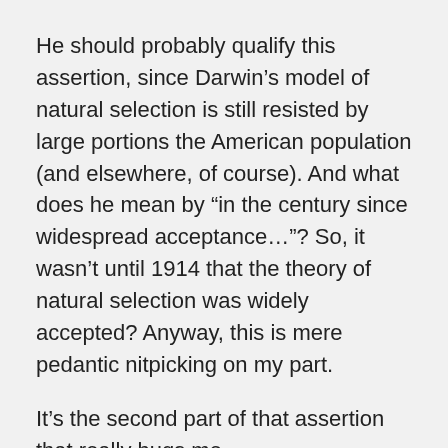He should probably qualify this assertion, since Darwin’s model of natural selection is still resisted by large portions the American population (and elsewhere, of course). And what does he mean by “in the century since widespread acceptance…”? So, it wasn’t until 1914 that the theory of natural selection was widely accepted? Anyway, this is mere pedantic nitpicking on my part.
It’s the second part of that assertion that really bugs me.
Just this month, a new book by some guy named Nicholas Wade was released which proposes that genetic differences are the best explanation for why some races “succeed” and